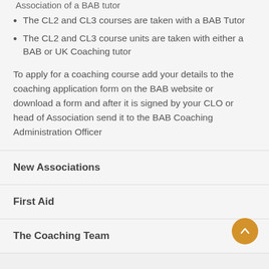The CL2 and CL3 courses are taken with a BAB Tutor
The CL2 and CL3 course units are taken with either a BAB or UK Coaching tutor
To apply for a coaching course add your details to the coaching application form on the BAB website or download a form and after it is signed by your CLO or head of Association send it to the BAB Coaching Administration Officer
New Associations
First Aid
The Coaching Team